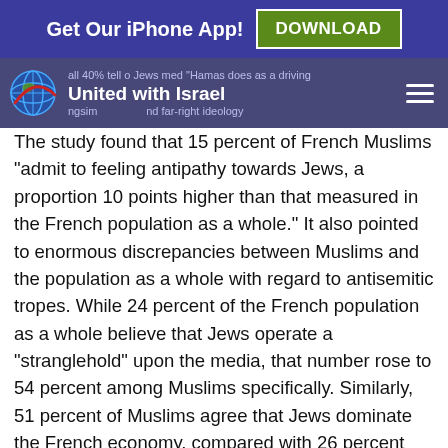Get Our iPhone App! DOWNLOAD
United with Israel
The study found that 15 percent of French Muslims “admit to feeling antipathy towards Jews, a proportion 10 points higher than that measured in the French population as a whole.” It also pointed to enormous discrepancies between Muslims and the population as a whole with regard to antisemitic tropes. While 24 percent of the French population as a whole believe that Jews operate a “stranglehold” upon the media, that number rose to 54 percent among Muslims specifically. Similarly, 51 percent of Muslims agree that Jews dominate the French economy, compared with 26 percent among the general population.
The study also noted that religiosity was a factor in Muslim behavior towards Jews. “Adherence to prejudice is related to the intensity of attendance at places of worship,” the study observed. “For example, 61 percent of Muslims who attend mosque every week believe that ‘Jews have too much power in